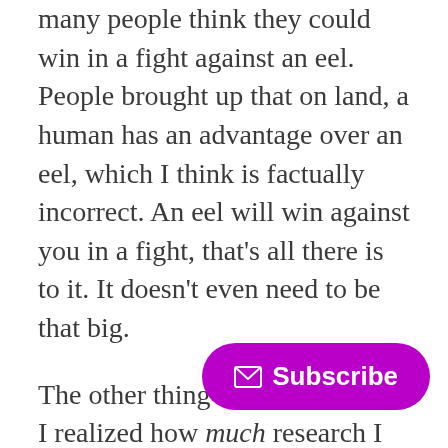many people think they could win in a fight against an eel. People brought up that on land, a human has an advantage over an eel, which I think is factually incorrect. An eel will win against you in a fight, that's all there is to it. It doesn't even need to be that big.
The other thing that happened is, I realized how much research I did for that story. I'm not a research-heavy author, I tend to lean into making shit up more than finding shit out. This is a thing I'm working against in an upcoming project that requires tons of research. But for this mermaid story, which is mo... mermaid wanting to eat a boy, ... research. I researched climate collapse predictions, ideal wind farm placement, turbine...